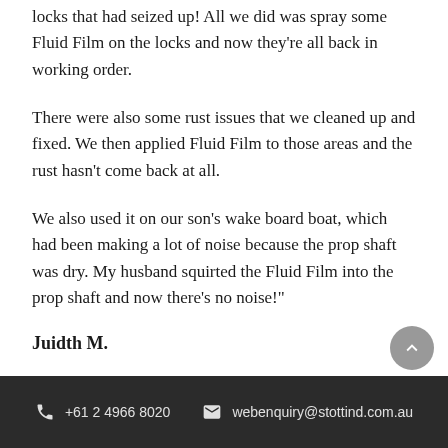locks that had seized up! All we did was spray some Fluid Film on the locks and now they're all back in working order.
There were also some rust issues that we cleaned up and fixed. We then applied Fluid Film to those areas and the rust hasn't come back at all.
We also used it on our son's wake board boat, which had been making a lot of noise because the prop shaft was dry. My husband squirted the Fluid Film into the prop shaft and now there's no noise!"
Juidth M.
+61 2 4966 8020   webenquiry@stottind.com.au